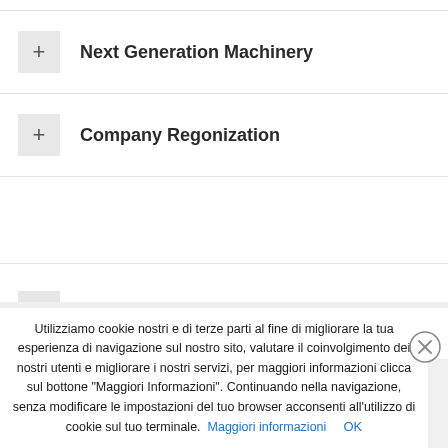+ Next Generation Machinery
+ Company Regonization
+ Safety Performance
Utilizziamo cookie nostri e di terze parti al fine di migliorare la tua esperienza di navigazione sul nostro sito, valutare il coinvolgimento dei nostri utenti e migliorare i nostri servizi, per maggiori informazioni clicca sul bottone "Maggiori Informazioni". Continuando nella navigazione, senza modificare le impostazioni del tuo browser acconsenti all'utilizzo di cookie sul tuo terminale. Maggiori informazioni OK